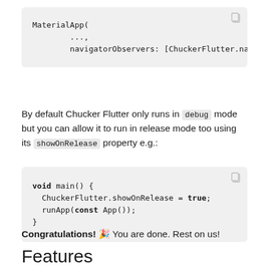MaterialApp(
        ...,
        navigatorObservers: [ChuckerFlutter.navig
By default Chucker Flutter only runs in debug mode but you can allow it to run in release mode too using its showOnRelease property e.g.:
void main() {
  ChuckerFlutter.showOnRelease = true;
  runApp(const App());
}
Congratulations! 🎉 You are done. Rest on us!
Features